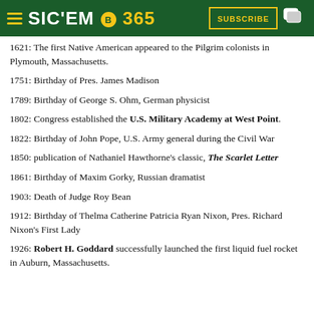SIC'EM 365 — SUBSCRIBE
1621: The first Native American appeared to the Pilgrim colonists in Plymouth, Massachusetts.
1751: Birthday of Pres. James Madison
1789: Birthday of George S. Ohm, German physicist
1802: Congress established the U.S. Military Academy at West Point.
1822: Birthday of John Pope, U.S. Army general during the Civil War
1850: publication of Nathaniel Hawthorne's classic, The Scarlet Letter
1861: Birthday of Maxim Gorky, Russian dramatist
1903: Death of Judge Roy Bean
1912: Birthday of Thelma Catherine Patricia Ryan Nixon, Pres. Richard Nixon's First Lady
1926: Robert H. Goddard successfully launched the first liquid fuel rocket in Auburn, Massachusetts.